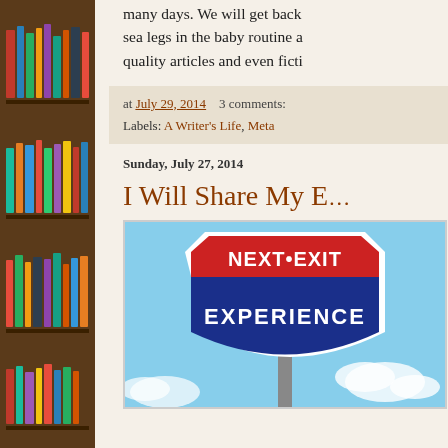[Figure (photo): Bookshelf sidebar with colorful books on wooden shelves]
many days. We will get back sea legs in the baby routine a quality articles and even ficti
at July 29, 2014   3 comments:
Labels: A Writer's Life, Meta
Sunday, July 27, 2014
I Will Share My E...
[Figure (photo): Road sign reading NEXT EXIT on top and EXPERIENCE on the blue shield portion, against a sky background]